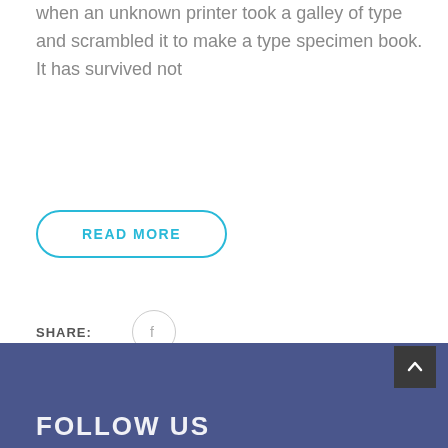when an unknown printer took a galley of type and scrambled it to make a type specimen book. It has survived not
READ MORE
SHARE:
[Figure (illustration): Facebook share icon in a light grey circle]
FOLLOW US